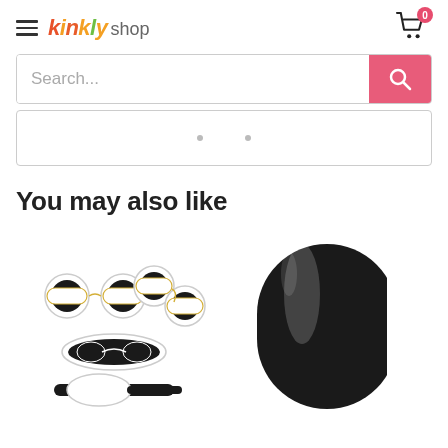kinkly shop — cart: 0
Search...
[Figure (screenshot): Carousel or banner placeholder with two dot indicators]
You may also like
[Figure (photo): Product image: white and gold bondage kit with handcuffs, ankle cuffs, blindfold, and paddle on white background]
[Figure (photo): Product image: black cylindrical object (partial view) on white background]